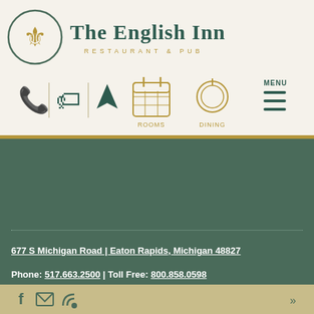[Figure (logo): The English Inn logo with fleur-de-lis in circle, text 'The English Inn Restaurant & Pub']
[Figure (infographic): Navigation icons: phone, tag, navigation arrow, rooms calendar icon, dining fork/plate icon, and MENU hamburger button]
677 S Michigan Road | Eaton Rapids, Michigan 48827
Phone: 517.663.2500 | Toll Free: 800.858.0598
[Figure (infographic): Footer bar with Facebook, email, RSS icons and double-arrow button]